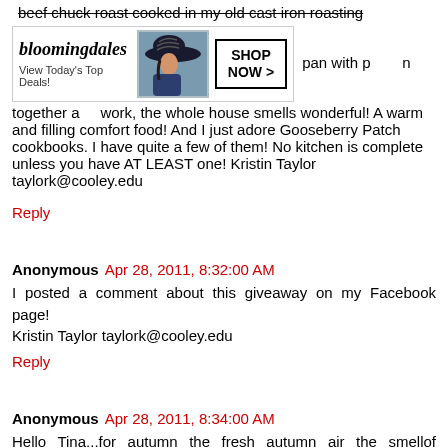beef chuck roast cooked in my old cast iron roasting pan with [ad] all together and work, the whole house smells wonderful! A warm and filling comfort food! And I just adore Gooseberry Patch cookbooks. I have quite a few of them! No kitchen is complete unless you have AT LEAST one! Kristin Taylor taylork@cooley.edu
[Figure (screenshot): Bloomingdale's advertisement banner: logo text 'bloomingdales', 'View Today's Top Deals!', woman with hat image, 'SHOP NOW >' button]
Reply
Anonymous Apr 28, 2011, 8:32:00 AM
I posted a comment about this giveaway on my Facebook page! Kristin Taylor taylork@cooley.edu
Reply
Anonymous Apr 28, 2011, 8:34:00 AM
Hello Tina...for autumn the fresh autumn air the smellof cinnamon and spice..what could be better than an old-fashioned pumpkin pie made from scratch..hummm.